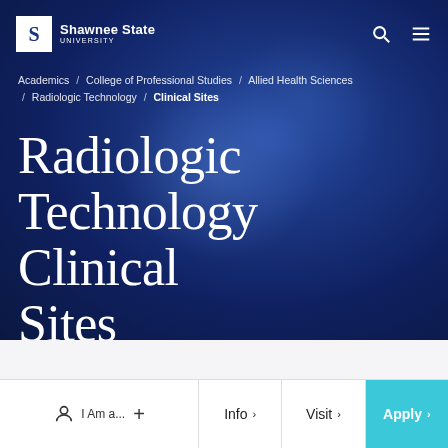[Figure (screenshot): Shawnee State University website header with dark blue gradient background, university logo, search and menu icons]
Shawnee State University
Academics / College of Professional Studies / Allied Health Sciences / Radiologic Technology / Clinical Sites
Radiologic Technology Clinical Sites
I Am a...  Info  Visit  Apply